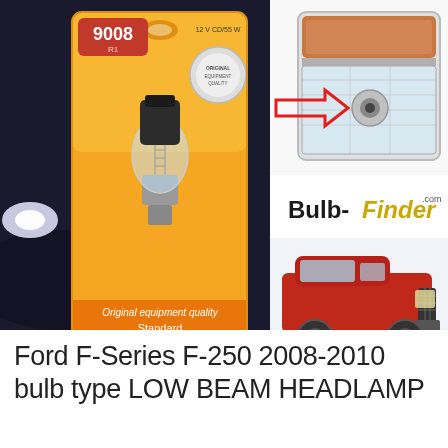[Figure (photo): Philips 9008 Standard headlamp bulb product packaging on left side. Orange/yellow packaging showing bulb model 9008 R1, 12V CD/55W, with text 'Original equipment quality Standard PHILIPS'. Background shows car headlights.]
[Figure (photo): Close-up photo of a vehicle headlamp assembly (top right), with a red arrow pointing to the low beam bulb location inside the headlamp housing.]
[Figure (logo): BulbFinder.com logo in black bold text 'Bulb-' and golden/yellow italic text 'Finder' with small '.com' superscript.]
[Figure (photo): Photo of a red Ford F-250 Super Duty pickup truck facing forward-right, with a red upward-pointing arrow indicating the headlamp location on the front bumper/grille area.]
Ford F-Series F-250 2008-2010 bulb type LOW BEAM HEADLAMP